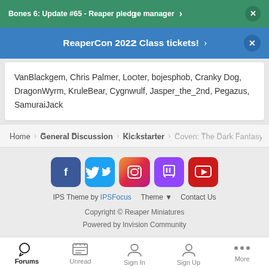Bones 6: Update #65 - Reaper pledge manager
ReaperCon 2022 Class tickets!
VanBlackgem, Chris Palmer, Looter, bojesphob, Cranky Dog, DragonWyrm, KruleBear, Cygnwulf, Jasper_the_2nd, Pegazus, SamuraiJack
Home > General Discussion > Kickstarter > Coven: The Dark Fantasy G
IPS Theme by IPSFocus  Theme  Contact Us  Copyright © Reaper Miniatures  Powered by Invision Community
Forums  Unread  Sign In  Sign Up  More